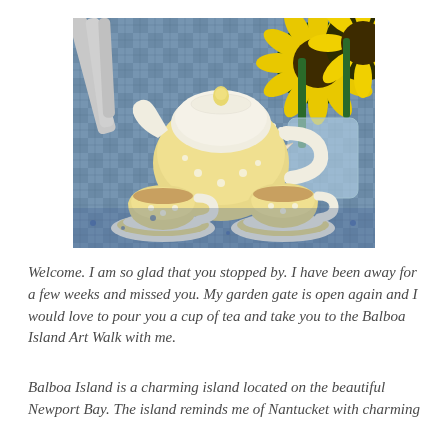[Figure (photo): A yellow and white ceramic teapot with two matching teacups filled with tea on saucers, placed on a blue and white plaid tablecloth with sunflowers and a starfish in the background.]
Welcome. I am so glad that you stopped by. I have been away for a few weeks and missed you. My garden gate is open again and I would love to pour you a cup of tea and take you to the Balboa Island Art Walk with me.
Balboa Island is a charming island located on the beautiful Newport Bay. The island reminds me of Nantucket with charming